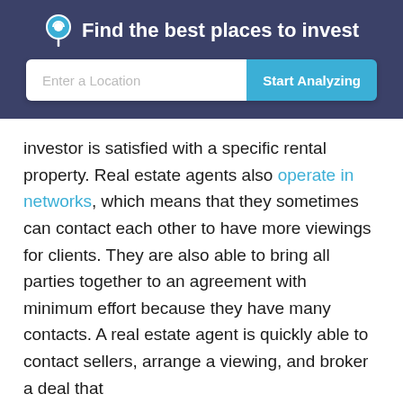Find the best places to invest
[Figure (screenshot): Search bar with placeholder 'Enter a Location' and 'Start Analyzing' button]
investor is satisfied with a specific rental property. Real estate agents also operate in networks, which means that they sometimes can contact each other to have more viewings for clients. They are also able to bring all parties together to an agreement with minimum effort because they have many contacts. A real estate agent is quickly able to contact sellers, arrange a viewing, and broker a deal that
Mashvisor uses cookies to provide necessary site functionality and improve your experience. By browsing our website, you consent to our use of cookies. To learn more please refer to our cookie policy
Accept
Reject